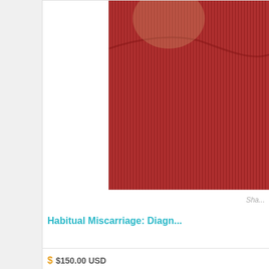[Figure (photo): Person wearing a red/pink striped shirt, partial view cropped to upper body]
Sha...
Habitual Miscarriage: Diagn...
$ $150.00 USD
[Figure (photo): Person with glasses standing in front of a shelf with labeled jars including one labeled 'Long Tan Dry']